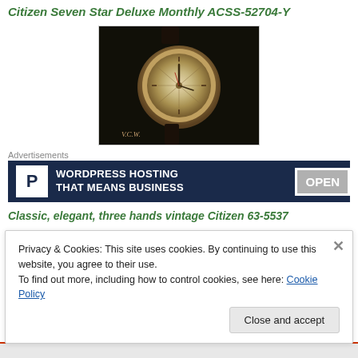Citizen Seven Star Deluxe Monthly ACSS-52704-Y
[Figure (photo): Photo of a vintage Citizen watch with a silver star-pattern dial on a dark background, signed V.C.W.]
Advertisements
[Figure (screenshot): Advertisement banner: WordPress Hosting That Means Business with OPEN sign]
Classic, elegant, three hands vintage Citizen 63-5537
Privacy & Cookies: This site uses cookies. By continuing to use this website, you agree to their use.
To find out more, including how to control cookies, see here: Cookie Policy
Close and accept